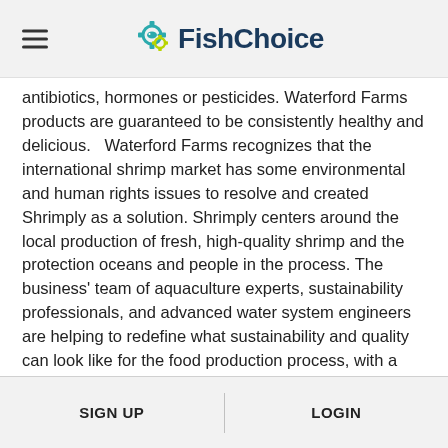FishChoice
antibiotics, hormones or pesticides. Waterford Farms products are guaranteed to be consistently healthy and delicious.   Waterford Farms recognizes that the international shrimp market has some environmental and human rights issues to resolve and created Shrimply as a solution. Shrimply centers around the local production of fresh, high-quality shrimp and the protection oceans and people in the process. The business' team of aquaculture experts, sustainability professionals, and advanced water system engineers are helping to redefine what sustainability and quality can look like for the food production process, with a focus on sound environmental practices and human respect.
SIGN UP | LOGIN